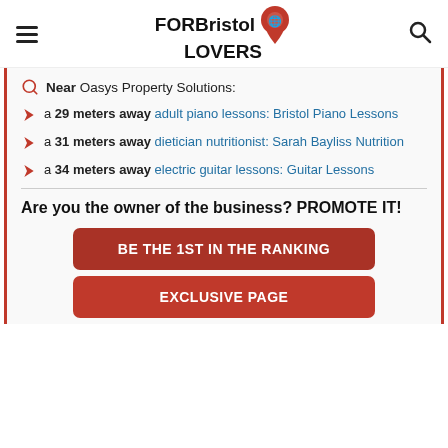FOR Bristol LOVERS
Near Oasys Property Solutions:
a 29 meters away adult piano lessons: Bristol Piano Lessons
a 31 meters away dietician nutritionist: Sarah Bayliss Nutrition
a 34 meters away electric guitar lessons: Guitar Lessons
Are you the owner of the business? PROMOTE IT!
BE THE 1ST IN THE RANKING
EXCLUSIVE PAGE